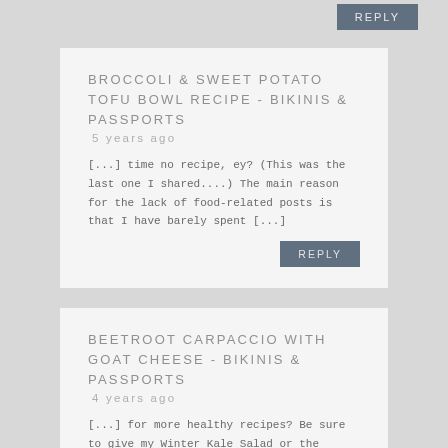BROCCOLI & SWEET POTATO TOFU BOWL RECIPE - BIKINIS & PASSPORTS
5 years ago
[...] time no recipe, ey? (This was the last one I shared....) The main reason for the lack of food-related posts is that I have barely spent [...]
BEETROOT CARPACCIO WITH GOAT CHEESE - BIKINIS & PASSPORTS
4 years ago
[...] for more healthy recipes? Be sure to give my Winter Kale Salad or the Broccoli & Sweet Potato Tofu Bowl a [...]